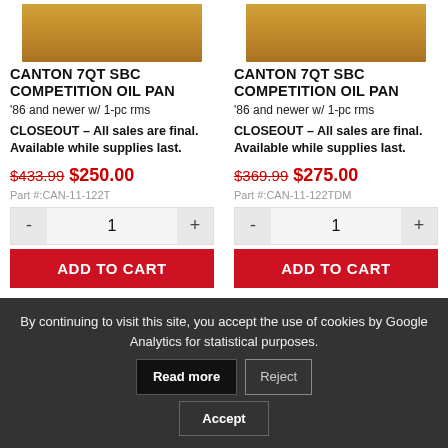[Figure (photo): Top portion of a brass-colored Canton 7QT SBC Competition Oil Pan product photo, cropped at top]
[Figure (photo): Top portion of a brass-colored Canton 7QT SBC Competition Oil Pan product photo, cropped at top]
CANTON 7QT SBC COMPETITION OIL PAN
'86 and newer w/ 1-pc rms
CLOSEOUT – All sales are final.
Available while supplies last.
$433.99 $250.00
Part #:CAN-11-122T
CANTON 7QT SBC COMPETITION OIL PAN
'86 and newer w/ 1-pc rms
CLOSEOUT – All sales are final.
Available while supplies last.
$369.99 $275.00
Part #:CAN-11-122TDM
By continuing to visit this site, you accept the use of cookies by Google Analytics for statistical purposes.
Read more
Reject
Accept